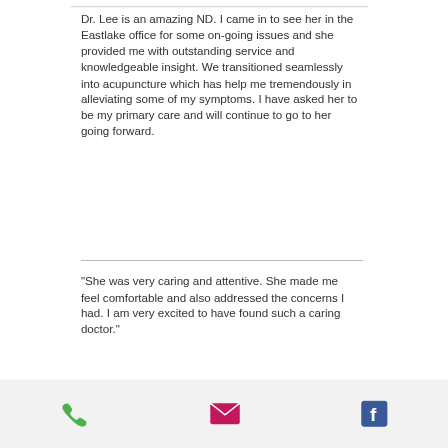Dr. Lee is an amazing ND. I came in to see her in the Eastlake office for some on-going issues and she provided me with outstanding service and knowledgeable insight. We transitioned seamlessly into acupuncture which has help me tremendously in alleviating some of my symptoms. I have asked her to be my primary care and will continue to go to her going forward.
"She was very caring and attentive. She made me feel comfortable and also addressed the concerns I had. I am very excited to have found such a caring doctor."
[Figure (other): Footer bar with three icons: green phone icon, magenta/pink email envelope icon, and blue Facebook icon]